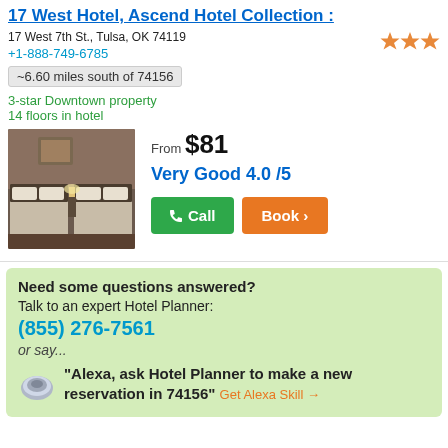17 West Hotel, Ascend Hotel Collection:
17 West 7th St., Tulsa, OK 74119
+1-888-749-6785
~6.60 miles south of 74156
3-star Downtown property
14 floors in hotel
[Figure (photo): Hotel room with two beds, warm lighting, brown and white bedding]
From $81
Very Good 4.0 /5
Call | Book
Need some questions answered?
Talk to an expert Hotel Planner:
(855) 276-7561
or say...
"Alexa, ask Hotel Planner to make a new reservation in 74156" Get Alexa Skill →